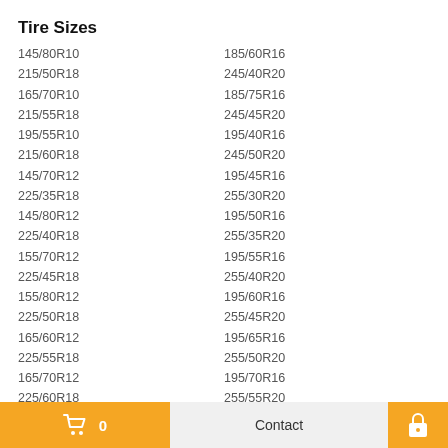Tire Sizes
145/80R10
185/60R16
215/50R18
245/40R20
165/70R10
185/75R16
215/55R18
245/45R20
195/55R10
195/40R16
215/60R18
245/50R20
145/70R12
195/45R16
225/35R18
255/30R20
145/80R12
195/50R16
225/40R18
255/35R20
155/70R12
195/55R16
225/45R18
255/40R20
155/80R12
195/60R16
225/50R18
255/45R20
165/60R12
195/65R16
225/55R18
255/50R20
165/70R12
195/70R16
225/60R18
255/55R20
185/60R12
195/75R16
225/65R18
255/60R20
195/60R12
205/40R16
235/40R18
125/80R13
0  Contact